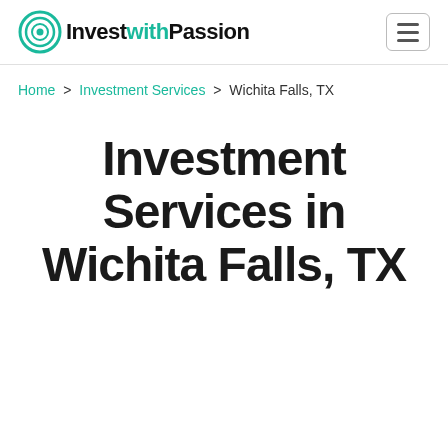InvestwithPassion logo and navigation
Home > Investment Services > Wichita Falls, TX
Investment Services in Wichita Falls, TX